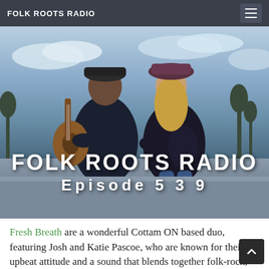FOLK ROOTS RADIO
[Figure (photo): Two musicians sitting back-to-back outdoors. The person on the left holds a guitar and wears a dark jacket and cap. The person on the right wears a floral jacket and hat. Text overlay reads 'FOLK ROOTS RADIO Episode 5 3 9'.]
Fresh Breath are a wonderful Cottam ON based duo, featuring Josh and Katie Pascoe, who are known for their upbeat attitude and a sound that blends together folk-rock, blues, pop, and country with a lot of heart and soul. They join us on Episode 539 of Folk Roots Radio to chat about how they spent their Covid-19 lockdown time